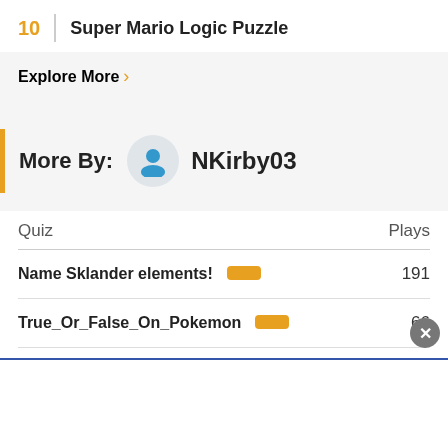10  Super Mario Logic Puzzle
Explore More >
More By: NKirby03
| Quiz | Plays |
| --- | --- |
| Name Sklander elements! | 191 |
| True_Or_False_On_Pokemon | 66 |
| What would happen? | 1 |